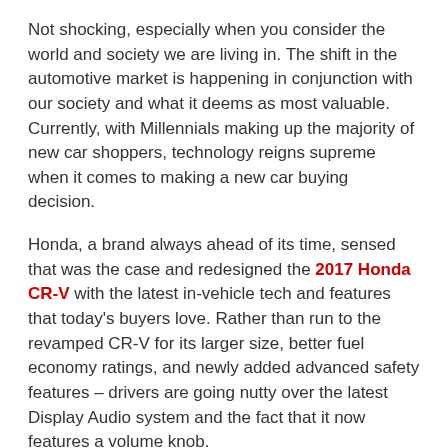Not shocking, especially when you consider the world and society we are living in. The shift in the automotive market is happening in conjunction with our society and what it deems as most valuable. Currently, with Millennials making up the majority of new car shoppers, technology reigns supreme when it comes to making a new car buying decision.
Honda, a brand always ahead of its time, sensed that was the case and redesigned the 2017 Honda CR-V with the latest in-vehicle tech and features that today's buyers love. Rather than run to the revamped CR-V for its larger size, better fuel economy ratings, and newly added advanced safety features – drivers are going nutty over the latest Display Audio system and the fact that it now features a volume knob.
That's right. With all of the design changes, upgrades, and efficiency changes made to the Honda crossover, buyers are most impressed by the addition of a volume knob to the vehicle's multimedia system. To be fair, a good amount of criticism and concern circled around the 2016 CR-V's touch-sensitive infotainment system.